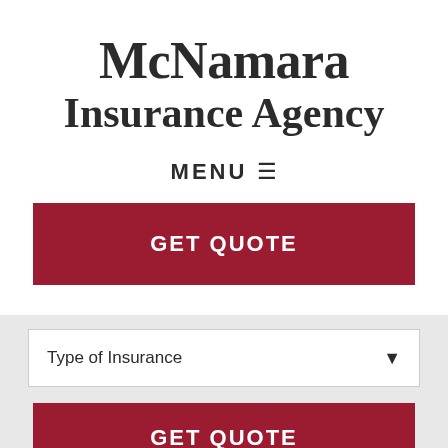McNamara Insurance Agency
MENU ☰
GET QUOTE
Type of Insurance
GET QUOTE